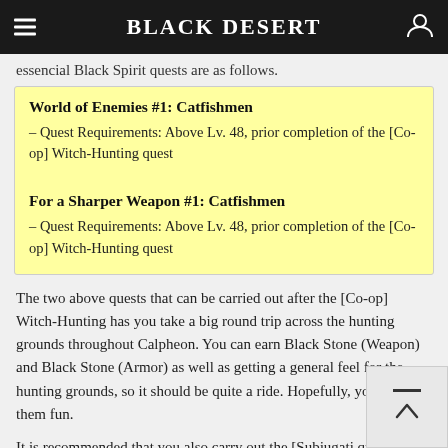Black Desert
essencial Black Spirit quests are as follows.
World of Enemies #1: Catfishmen
– Quest Requirements: Above Lv. 48, prior completion of the [Co-op] Witch-Hunting quest
For a Sharper Weapon #1: Catfishmen
– Quest Requirements: Above Lv. 48, prior completion of the [Co-op] Witch-Hunting quest
The two above quests that can be carried out after the [Co-op] Witch-Hunting has you take a big round trip across the hunting grounds throughout Calpheon. You can earn Black Stone (Weapon) and Black Stone (Armor) as well as getting a general feel for the hunting grounds, so it should be quite a ride. Hopefully, you'll find them fun.
It is recommended that you also carry out the [Subjugati quests from the NPCs located within the hunting groun the Node Manager as you carry out the above two quests. The rewards include Gold Bars, so you'll be able to earn some